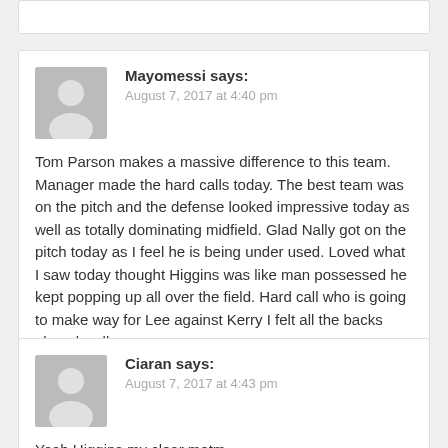Mayomessi says:
August 7, 2017 at 4:40 pm
Tom Parson makes a massive difference to this team. Manager made the hard calls today. The best team was on the pitch and the defense looked impressive today as well as totally dominating midfield. Glad Nally got on the pitch today as I feel he is being under used. Loved what I saw today thought Higgins was like man possessed he kept popping up all over the field. Hard call who is going to make way for Lee against Kerry I felt all the backs played well.
Ciaran says:
August 7, 2017 at 4:43 pm
Yeah Higgins my clear motm